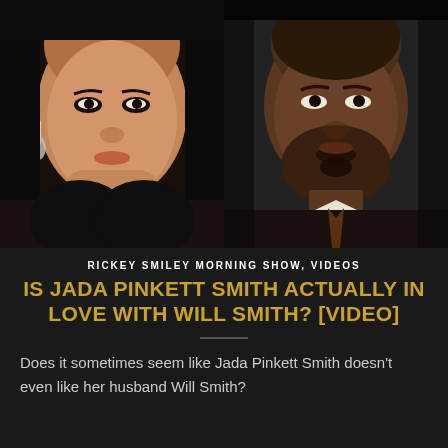[Figure (photo): Side-by-side portraits: Jada Pinkett Smith on the left wearing a silver earring, Will Smith on the right in a suit and tie]
RICKEY SMILEY MORNING SHOW, VIDEOS
IS JADA PINKETT SMITH ACTUALLY IN LOVE WITH WILL SMITH? [VIDEO]
Does it sometimes seem like Jada Pinkett Smith doesn't even like her husband Will Smith?